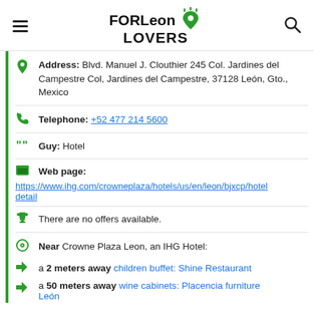FORLeon LOVERS
Address: Blvd. Manuel J. Clouthier 245 Col. Jardines del Campestre Col, Jardines del Campestre, 37128 León, Gto., Mexico
Telephone: +52 477 214 5600
Guy: Hotel
Web page:
https://www.ihg.com/crowneplaza/hotels/us/en/leon/bjxcp/hotel detail
There are no offers available.
Near Crowne Plaza Leon, an IHG Hotel:
a 2 meters away children buffet: Shine Restaurant
a 50 meters away wine cabinets: Placencia furniture León